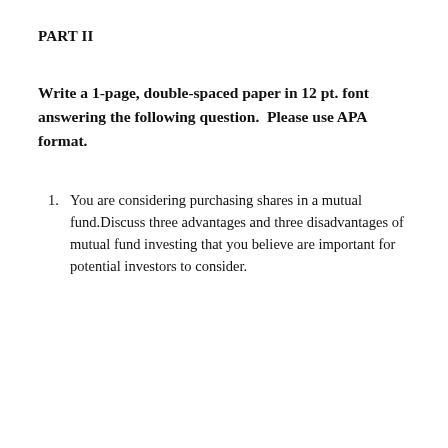PART II
Write a 1-page, double-spaced paper in 12 pt. font answering the following question.  Please use APA format.
You are considering purchasing shares in a mutual fund.Discuss three advantages and three disadvantages of mutual fund investing that you believe are important for potential investors to consider.